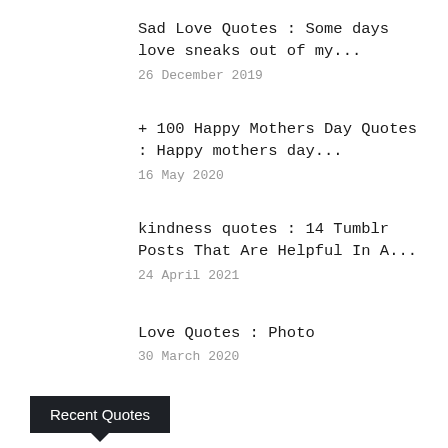Sad Love Quotes : Some days love sneaks out of my...
26 December 2019
+ 100 Happy Mothers Day Quotes : Happy mothers day...
16 May 2020
kindness quotes : 14 Tumblr Posts That Are Helpful In A...
24 April 2021
Love Quotes : Photo
30 March 2020
Recent Quotes